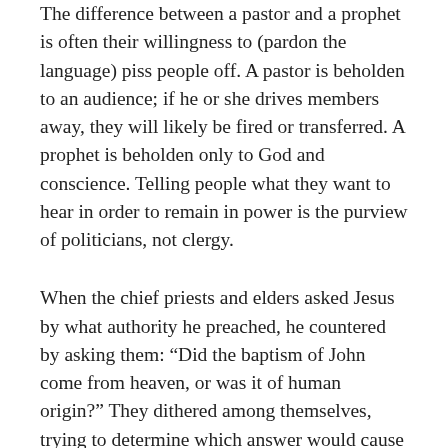The difference between a pastor and a prophet is often their willingness to (pardon the language) piss people off. A pastor is beholden to an audience; if he or she drives members away, they will likely be fired or transferred. A prophet is beholden only to God and conscience. Telling people what they want to hear in order to remain in power is the purview of politicians, not clergy.
When the chief priests and elders asked Jesus by what authority he preached, he countered by asking them: “Did the baptism of John come from heaven, or was it of human origin?” They dithered among themselves, trying to determine which answer would cause the fewest problems: if they said “from heaven” they would have to admit they’d been hypocrites, but if they said “from man” the people who followed John might turn on them in